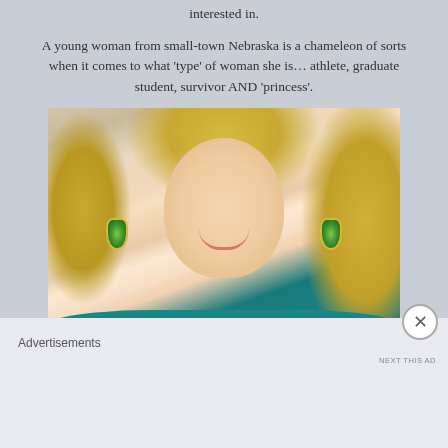interested in.
A young woman from small-town Nebraska is a chameleon of sorts when it comes to what ‘type’ of woman she is… athlete, graduate student, survivor AND ‘princess’.
[Figure (photo): Portrait photo of a young blonde woman smiling, wearing green gemstone earrings and a teal top, against a light background.]
Advertisements